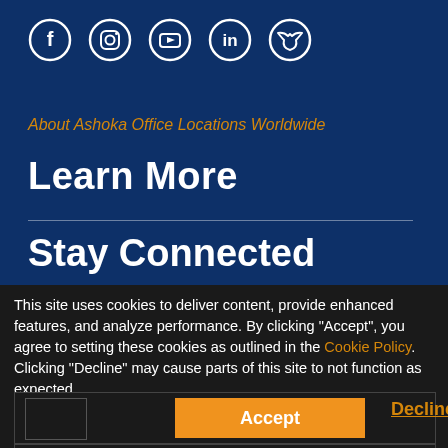[Figure (illustration): Social media icons row: Facebook, Instagram, YouTube, LinkedIn, Twitter — white circle outlines on dark blue background]
About Ashoka Office Locations Worldwide
Learn More
Stay Connected
This site uses cookies to deliver content, provide enhanced features, and analyze performance. By clicking "Accept", you agree to setting these cookies as outlined in the Cookie Policy. Clicking "Decline" may cause parts of this site to not function as expected.
Accept
Decline